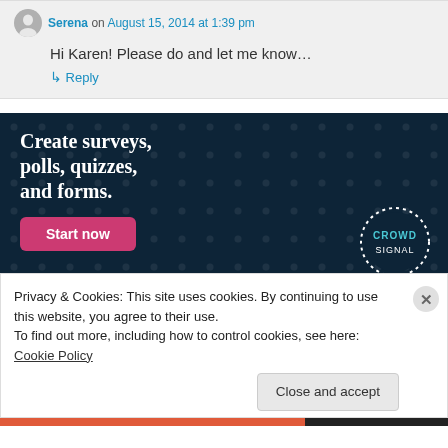Serena on August 15, 2014 at 1:39 pm
Hi Karen! Please do and let me know…
↳ Reply
[Figure (infographic): Advertisement banner with dark navy background and dot pattern. Text reads 'Create surveys, polls, quizzes, and forms.' with a pink 'Start now' button and Crowd logo in bottom right.]
Privacy & Cookies: This site uses cookies. By continuing to use this website, you agree to their use. To find out more, including how to control cookies, see here: Cookie Policy
Close and accept